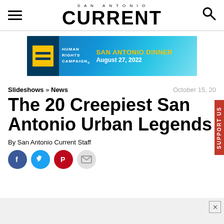SAN ANTONIO CURRENT
[Figure (illustration): Human Rights Campaign advertisement banner: HRC logo with yellow equals sign on dark blue background, text 'HUMAN RIGHTS CAMPAIGN', 'SAN ANTONIO DINNER', 'August 27, 2022' on blue gradient background]
Slideshows » News	October 15, 20
The 20 Creepiest San Antonio Urban Legends
By San Antonio Current Staff
[Figure (infographic): Social sharing icons: Facebook (blue circle with f), Twitter (blue circle with bird), Pinterest (red circle with P), Email (gray circle with envelope)]